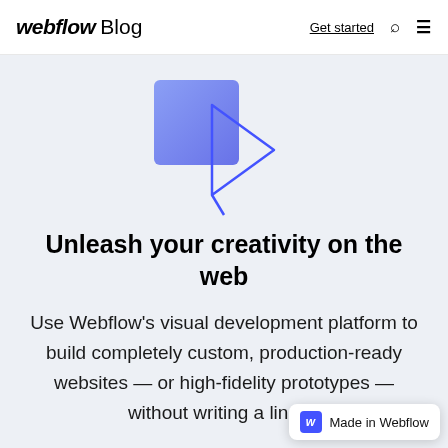webflow Blog — Get started
[Figure (illustration): A blue/purple gradient square overlaid with a triangular cursor/pointer arrow outline, on a light gray background — the Webflow visual design illustration]
Unleash your creativity on the web
Use Webflow's visual development platform to build completely custom, production-ready websites — or high-fidelity prototypes — without writing a line of
[Figure (logo): Made in Webflow badge with blue W icon]